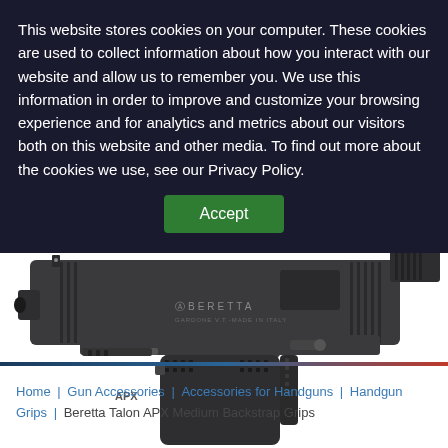This website stores cookies on your computer. These cookies are used to collect information about how you interact with our website and allow us to remember you. We use this information in order to improve and customize your browsing experience and for analytics and metrics about our visitors both on this website and other media. To find out more about the cookies we use, see our Privacy Policy.
Accept
Home | Gun Accessories | Accessories for Handguns | Handgun Grips | Beretta Talon APX Medium Backstrap Grips
[Figure (photo): Close-up photo of a Beretta APX handgun, shown from the left side, displaying the slide with BERETTA branding and made-in-Italy text, iron sights visible front and rear, the grip and trigger area visible at bottom.]